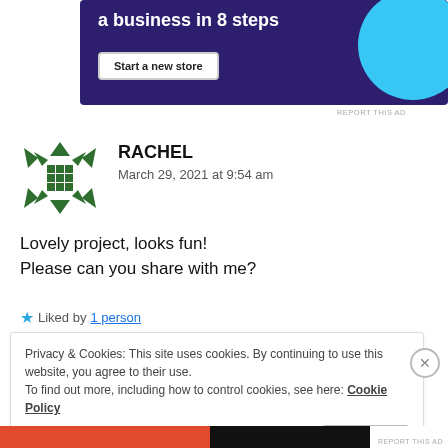[Figure (other): Advertisement banner with dark purple background, 'a business in 8 steps' text, 'Start a new store' button, and cyan circle decoration]
REPORT THIS AD
[Figure (logo): Green geometric avatar/logo icon made of triangles and squares arranged in a circular pattern]
RACHEL
March 29, 2021 at 9:54 am
Lovely project, looks fun!
Please can you share with me?
★ Liked by 1 person
Privacy & Cookies: This site uses cookies. By continuing to use this website, you agree to their use.
To find out more, including how to control cookies, see here: Cookie Policy
I accept!